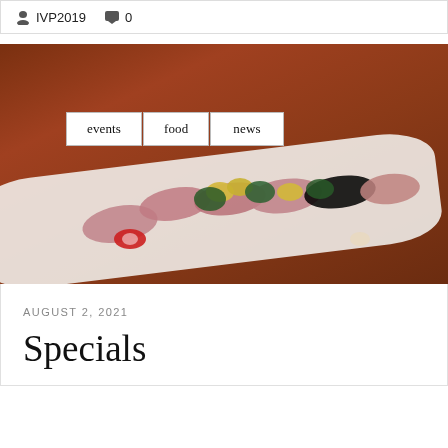IVP2019  0
[Figure (photo): Overhead close-up of sliced raw fish (sashimi/carpaccio) arranged on a long white rectangular plate with colorful garnishes including yellow diced mango, fresh herbs, sliced red chili, and a cream sauce dot, on a warm brown background. Three white tag buttons labeled 'events', 'food', 'news' are overlaid on the upper-left portion of the image.]
AUGUST 2, 2021
Specials